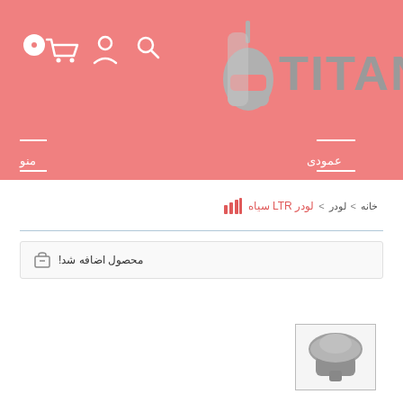[Figure (screenshot): Pink header with TITAN logo (helmet + word mark) in gray, cart/user/search icons top-left, and navigation bar with منو (left) and عمودی (right)]
خانه > لودر > لودر LTR سیاه
محصول اضافه شد!
[Figure (photo): Small product thumbnail image of a gray paintball/sports loader hopper on light background]